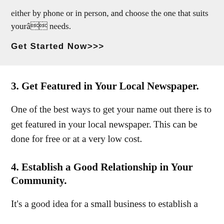either by phone or in person, and choose the one that suits yourâ needs.
Get Started Now>>>
3. Get Featured in Your Local Newspaper.
One of the best ways to get your name out there is to get featured in your local newspaper. This can be done for free or at a very low cost.
4. Establish a Good Relationship in Your Community.
It's a good idea for a small business to establish a